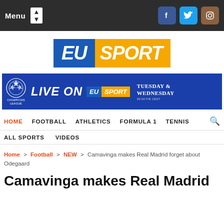Menu | Facebook | Twitter | Instagram
[Figure (logo): EU SPORT logo — EU in blue background, SPORT in orange/yellow background, bold italic text]
[Figure (infographic): Champions League Live on EU Sport banner — Tuesday & Wednesday 09:00 PM CEST]
HOME   FOOTBALL   ATHLETICS   FORMULA 1   TENNIS   ALL SPORTS   VIDEOS
Home > Football > NEW > Camavinga makes Real Madrid forget about Odegaard
Camavinga makes Real Madrid